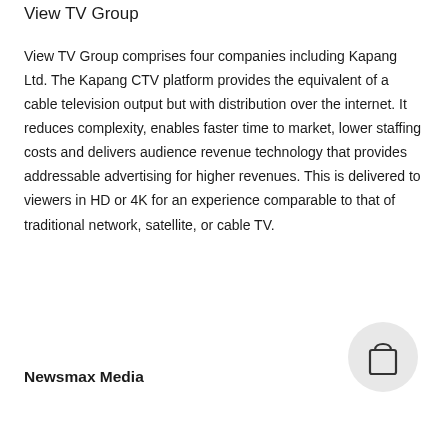View TV Group
View TV Group comprises four companies including Kapang Ltd. The Kapang CTV platform provides the equivalent of a cable television output but with distribution over the internet. It reduces complexity, enables faster time to market, lower staffing costs and delivers audience revenue technology that provides addressable advertising for higher revenues. This is delivered to viewers in HD or 4K for an experience comparable to that of traditional network, satellite, or cable TV.
Newsmax Media
[Figure (illustration): A shopping bag icon inside a light grey circle]